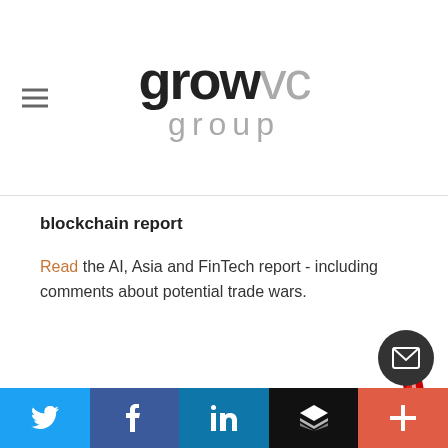grow vc group
blockchain report
Read the AI, Asia and FinTech report - including comments about potential trade wars.
[Figure (photo): Gold medal badge awarded Top 80 Fintech Blog with red ribbon]
Social share buttons: Twitter, Facebook, LinkedIn, Buffer, More